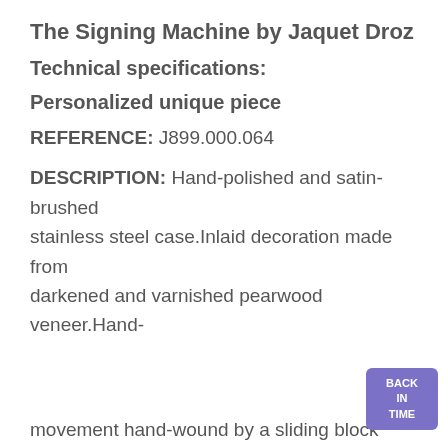The Signing Machine by Jaquet Droz
Technical specifications:
Personalized unique piece
REFERENCE: J899.000.064
DESCRIPTION: Hand-polished and satin-brushed stainless steel case.Inlaid decoration made from darkened and varnished pearwood veneer.Hand-
[Figure (screenshot): Cookie consent overlay banner with purple background. Text reads: 'This website uses cookies to ensure you get the best experience on our website. Learn more' with a 'Got it!' button below.]
movement hand-wound by a sliding block